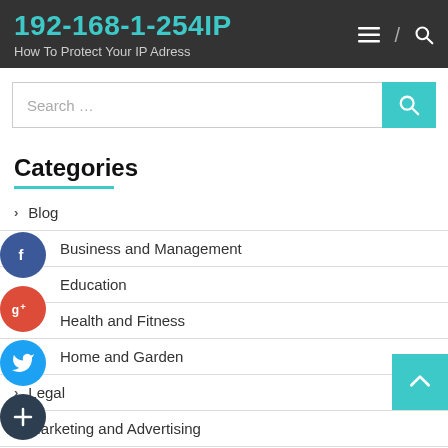192-168-1-254IP – How To Protect Your IP Adress
Categories
Blog
Business and Management
Education
Health and Fitness
Home and Garden
Legal
Marketing and Advertising